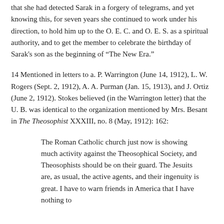that she had detected Sarak in a forgery of telegrams, and yet knowing this, for seven years she continued to work under his direction, to hold him up to the O. E. C. and O. E. S. as a spiritual authority, and to get the member to celebrate the birthday of Sarak's son as the beginning of “The New Era.”
14 Mentioned in letters to a. P. Warrington (June 14, 1912), L. W. Rogers (Sept. 2, 1912), A. A. Purman (Jan. 15, 1913), and J. Ortiz (June 2, 1912). Stokes believed (in the Warrington letter) that the U. B. was identical to the organization mentioned by Mrs. Besant in The Theosophist XXXIII, no. 8 (May, 1912): 162:
The Roman Catholic church just now is showing much activity against the Theosophical Society, and Theosophists should be on their guard. The Jesuits are, as usual, the active agents, and their ingenuity is great. I have to warn friends in America that I have nothing to